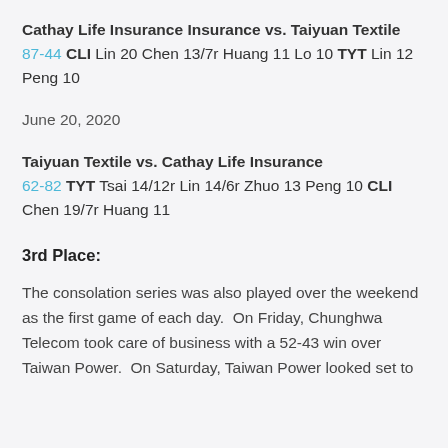Cathay Life Insurance Insurance vs. Taiyuan Textile 87-44 CLI Lin 20 Chen 13/7r Huang 11 Lo 10 TYT Lin 12 Peng 10
June 20, 2020
Taiyuan Textile vs. Cathay Life Insurance 62-82 TYT Tsai 14/12r Lin 14/6r Zhuo 13 Peng 10 CLI Chen 19/7r Huang 11
3rd Place:
The consolation series was also played over the weekend as the first game of each day.  On Friday, Chunghwa Telecom took care of business with a 52-43 win over Taiwan Power.  On Saturday, Taiwan Power looked set to